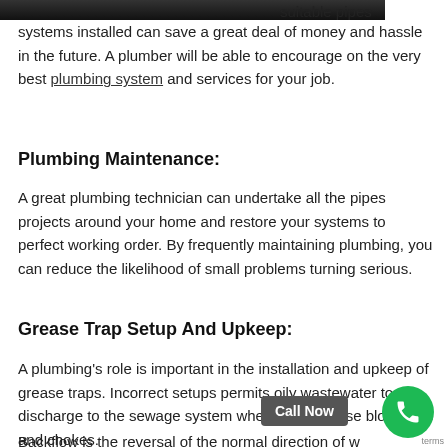[Figure (photo): Top portion of a photo (dark/black bar visible at top of page), partially cut off]
suitable pipes systems installed can save a great deal of money and hassle in the future. A plumber will be able to encourage on the very best plumbing system and services for your job.
Plumbing Maintenance:
A great plumbing technician can undertake all the pipes projects around your home and restore your systems to perfect working order. By frequently maintaining plumbing, you can reduce the likelihood of small problems turning serious.
Grease Trap Setup And Upkeep:
A plumbing's role is important in the installation and upkeep of grease traps. Incorrect setups permits oily wastewater to discharge to the sewage system where it can cause blockages and chokes.
Backflow Plumbing Services:
Backflow is the reversal of the normal direction of water flow in your supply of water plumbing system. In order to